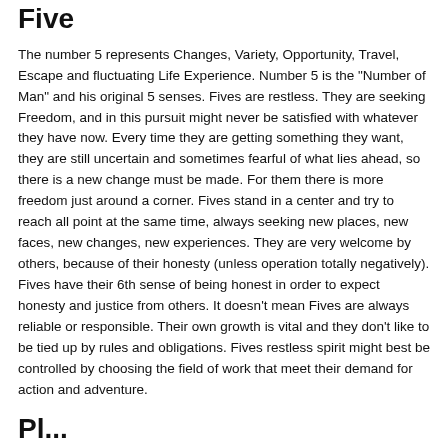Five
The number 5 represents Changes, Variety, Opportunity, Travel, Escape and fluctuating Life Experience. Number 5 is the "Number of Man" and his original 5 senses. Fives are restless. They are seeking Freedom, and in this pursuit might never be satisfied with whatever they have now. Every time they are getting something they want, they are still uncertain and sometimes fearful of what lies ahead, so there is a new change must be made. For them there is more freedom just around a corner. Fives stand in a center and try to reach all point at the same time, always seeking new places, new faces, new changes, new experiences. They are very welcome by others, because of their honesty (unless operation totally negatively). Fives have their 6th sense of being honest in order to expect honesty and justice from others. It doesn't mean Fives are always reliable or responsible. Their own growth is vital and they don't like to be tied up by rules and obligations. Fives restless spirit might best be controlled by choosing the field of work that meet their demand for action and adventure.
Pl...